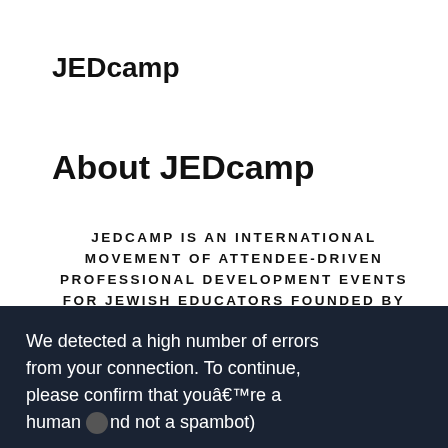JEDcamp
About JEDcamp
JEDCAMP IS AN INTERNATIONAL MOVEMENT OF ATTENDEE-DRIVEN PROFESSIONAL DEVELOPMENT EVENTS FOR JEWISH EDUCATORS FOUNDED BY SETH DIMBERT (@MISTERD) IN 2012.
We detected a high number of errors from your connection. To continue, please confirm that youâ€™re a human and not a spambot)